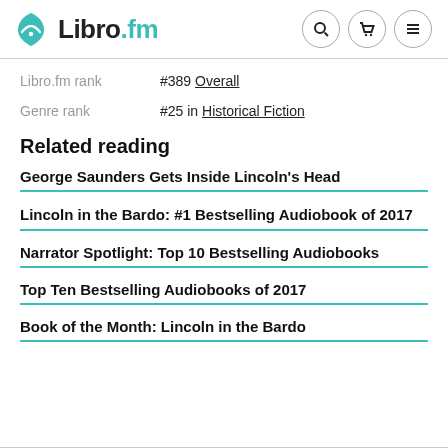Libro.fm
Libro.fm rank   #389 Overall
Genre rank   #25 in Historical Fiction
Related reading
George Saunders Gets Inside Lincoln's Head
Lincoln in the Bardo: #1 Bestselling Audiobook of 2017
Narrator Spotlight: Top 10 Bestselling Audiobooks
Top Ten Bestselling Audiobooks of 2017
Book of the Month: Lincoln in the Bardo